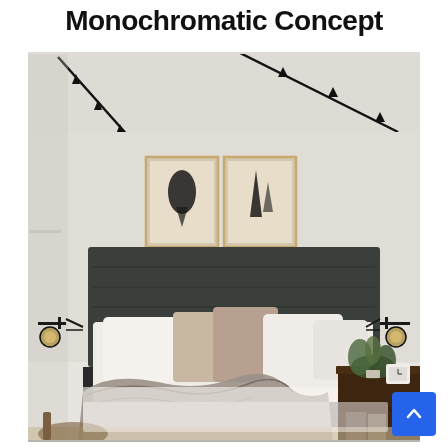Monochromatic Concept
[Figure (photo): A stylish monochromatic bedroom interior with a dark upholstered bed, layered neutral pillows, white bedding, a chunky knit throw, two framed abstract artworks on the wall, black track lighting on the ceiling, wall-mounted brass sconces on either side of the bed, and a dark wood nightstand with a small plant and clock on the right side.]